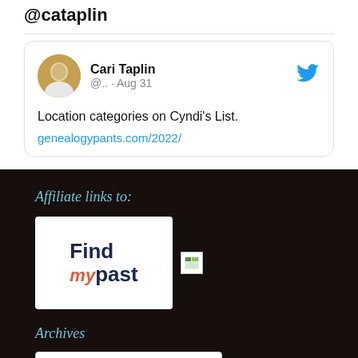@cataplin
Cari Taplin @.. · Aug 31
Location categories on Cyndi's List.
geneaologypants.com/2022/
Affiliate links to:
[Figure (logo): FindMyPast logo - dark blue text with red italic 'my']
[Figure (logo): Small placeholder logo image]
Archives
Select Month